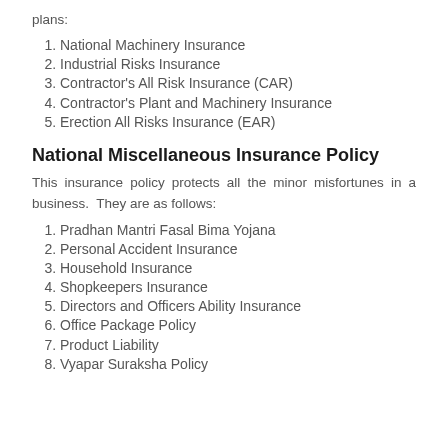plans:
1. National Machinery Insurance
2. Industrial Risks Insurance
3. Contractor's All Risk Insurance (CAR)
4. Contractor's Plant and Machinery Insurance
5. Erection All Risks Insurance (EAR)
National Miscellaneous Insurance Policy
This insurance policy protects all the minor misfortunes in a business.  They are as follows:
1. Pradhan Mantri Fasal Bima Yojana
2. Personal Accident Insurance
3. Household Insurance
4. Shopkeepers Insurance
5. Directors and Officers Ability Insurance
6. Office Package Policy
7. Product Liability
8. Vyapar Suraksha Policy